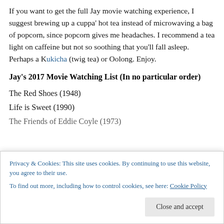If you want to get the full Jay movie watching experience, I suggest brewing up a cuppa' hot tea instead of microwaving a bag of popcorn, since popcorn gives me headaches. I recommend a tea light on caffeine but not so soothing that you'll fall asleep. Perhaps a Kukicha (twig tea) or Oolong. Enjoy.
Jay's 2017 Movie Watching List (In no particular order)
The Red Shoes (1948)
Life is Sweet (1990)
The Friends of Eddie Coyle (1973)
Privacy & Cookies: This site uses cookies. By continuing to use this website, you agree to their use. To find out more, including how to control cookies, see here: Cookie Policy
My Man Godfrey (1936)